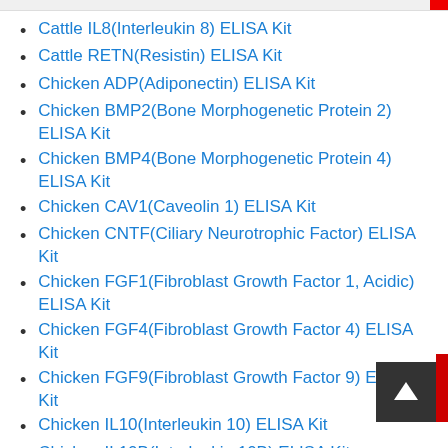Cattle IL8(Interleukin 8) ELISA Kit
Cattle RETN(Resistin) ELISA Kit
Chicken ADP(Adiponectin) ELISA Kit
Chicken BMP2(Bone Morphogenetic Protein 2) ELISA Kit
Chicken BMP4(Bone Morphogenetic Protein 4) ELISA Kit
Chicken CAV1(Caveolin 1) ELISA Kit
Chicken CNTF(Ciliary Neurotrophic Factor) ELISA Kit
Chicken FGF1(Fibroblast Growth Factor 1, Acidic) ELISA Kit
Chicken FGF4(Fibroblast Growth Factor 4) ELISA Kit
Chicken FGF9(Fibroblast Growth Factor 9) ELISA Kit
Chicken IL10(Interleukin 10) ELISA Kit
Chicken IL10B(Interleukin 10B) ELISA Kit